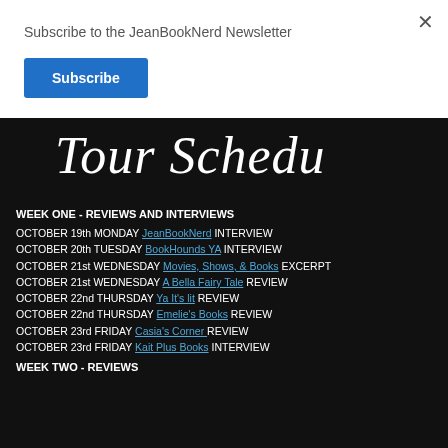Subscribe to the JeanBookNerd Newsletter
Subscribe
Tour Schedu
WEEK ONE - REVIEWS AND INTERVIEWS
OCTOBER 19th MONDAY JeanBookNerd INTERVIEW
OCTOBER 20th TUESDAY BookHounds YA INTERVIEW
OCTOBER 21st WEDNESDAY Movies, Shows, & Books EXCERPT
OCTOBER 21st WEDNESDAY A Bella Fairy Tale REVIEW
OCTOBER 22nd THURSDAY Ya It's lit REVIEW
OCTOBER 22nd THURSDAY Emelie's Books REVIEW
OCTOBER 23rd FRIDAY Casia's Corner REVIEW
OCTOBER 23rd FRIDAY Kait Plus Books INTERVIEW
WEEK TWO - REVIEWS